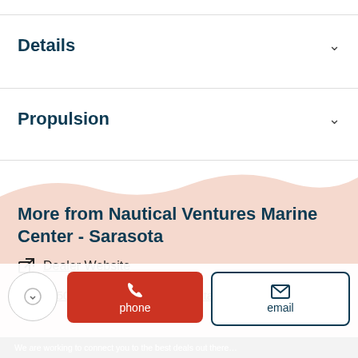Details
Propulsion
More from Nautical Ventures Marine Center - Sarasota
Dealer Website
8050 N. Tamiami Trail, Sarasota, FL, United States
phone
email